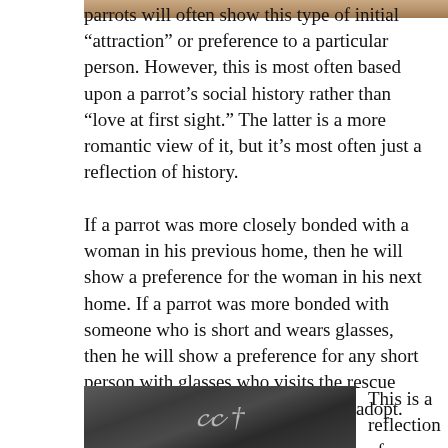[Figure (photo): Top portion of a photo showing people, cropped at top of page]
parrots will often show this type of initial “attraction” or preference to a particular person. However, this is most often based upon a parrot’s social history rather than “love at first sight.” The latter is a more romantic view of it, but it’s most often just a reflection of history.
If a parrot was more closely bonded with a woman in his previous home, then he will show a preference for the woman in his next home. If a parrot was more bonded with someone who is short and wears glasses, then he will show a preference for any short person with glasses who visits the rescue organization looking for a parrot to adopt.
[Figure (photo): Dark chalkboard image with decorative chalk lettering/script]
This is a reflection of a history of